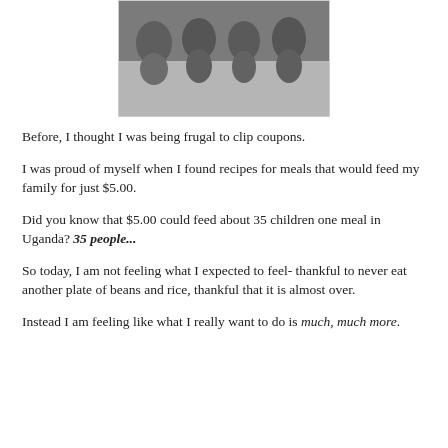[Figure (photo): Black and white photograph of four severely malnourished young children with distended bellies, torsos visible, standing or sitting close together.]
Before, I thought I was being frugal to clip coupons.
I was proud of myself when I found recipes for meals that would feed my family for just $5.00.
Did you know that $5.00 could feed about 35 children one meal in Uganda? 35 people...
So today, I am not feeling what I expected to feel- thankful to never eat another plate of beans and rice, thankful that it is almost over.
Instead I am feeling like what I really want to do is much, much more.